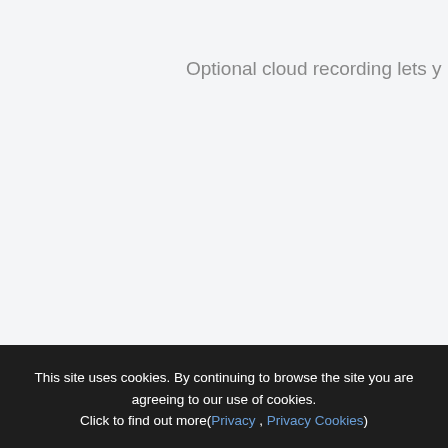Optional cloud recording lets y…
Accept
This site uses cookies. By continuing to browse the site you are agreeing to our use of cookies. Click to find out more(Privacy , Privacy Cookies)